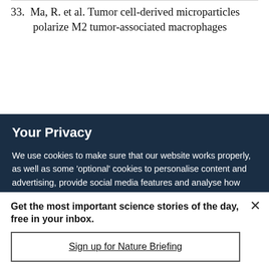33.  Ma, R. et al. Tumor cell-derived microparticles polarize M2 tumor-associated macrophages
Your Privacy
We use cookies to make sure that our website works properly, as well as some 'optional' cookies to personalise content and advertising, provide social media features and analyse how people use our site. By accepting some or all optional cookies you give consent to the processing of your personal data, including transfer to third parties, some in countries outside of the European Economic Area that do not offer the same data protection standards as the country where you live. You can decide which optional cookies to accept by clicking on 'Manage Settings', where you can
Get the most important science stories of the day, free in your inbox.
Sign up for Nature Briefing